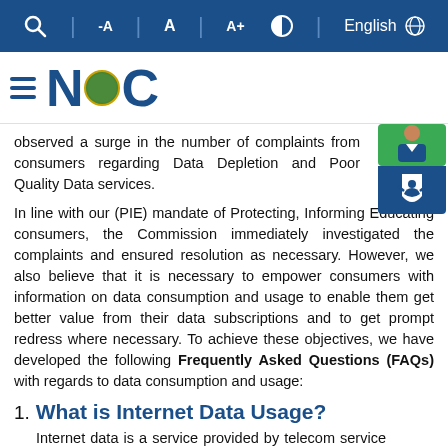NCC website toolbar with search, text size controls, and language selector
[Figure (logo): NCC (Nigerian Communications Commission) logo with hamburger menu, NCC letters in dark blue with coat of arms emblem]
observed a surge in the number of complaints from consumers regarding Data Depletion and Poor Quality Data services.
In line with our (PIE) mandate of Protecting, Informing Educating consumers, the Commission immediately investigated the complaints and ensured resolution as necessary. However, we also believe that it is necessary to empower consumers with information on data consumption and usage to enable them get better value from their data subscriptions and to get prompt redress where necessary. To achieve these objectives, we have developed the following Frequently Asked Questions (FAQs) with regards to data consumption and usage:
1. What is Internet Data Usage?
Internet data is a service provided by telecom service operators to the end users to enable them access the internet. The speed of the access and the nature of activities which the consumer can carry out often depends